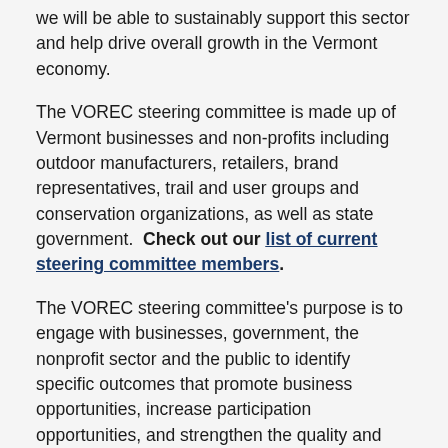we will be able to sustainably support this sector and help drive overall growth in the Vermont economy.
The VOREC steering committee is made up of Vermont businesses and non-profits including outdoor manufacturers, retailers, brand representatives, trail and user groups and conservation organizations, as well as state government.  Check out our list of current steering committee members.
The VOREC steering committee's purpose is to engage with businesses, government, the nonprofit sector and the public to identify specific outcomes that promote business opportunities, increase participation opportunities, and strengthen the quality and stewardship of our recreational resources.
VOREC Community Grant Program
This grant program is intended to fund community projects